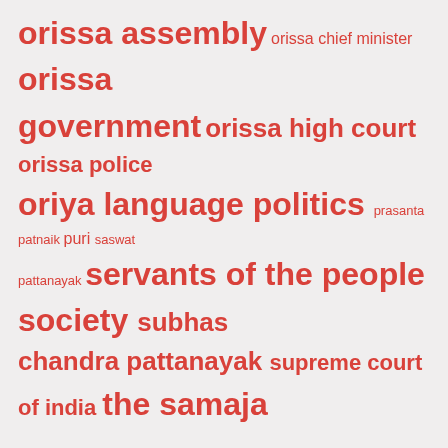[Figure (other): Tag cloud with red/salmon colored tags of varying sizes: orissa assembly, orissa chief minister, orissa government, orissa high court, orissa police, oriya language politics, prasanta patnaik, puri, saswat pattanayak, servants of the people society, subhas chandra pattanayak, supreme court of india, the samaja]
WHY ORISSA, NOT ODISHA?
In these pages, the English spelling of the name of our motherland and mother tongue will remain Orissa and Oriya as before, instead of changing into Odisha and Odia.
Law has changed Orissa and its language Oriya to Odisha and Odia in English respectively. This is a very irresponsible law created by politicians having no knowledge on and devotion to classical uniqueness of Oriya language. When this bad law was on the anvil, we had opposed the proposal through several articles in these pages on grounds shown therein. And, when finally